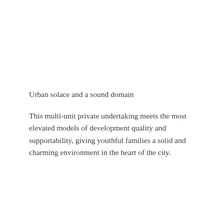Urban solace and a sound domain
This multi-unit private undertaking meets the most elevated models of development quality and supportability, giving youthful families a solid and charming environment in the heart of the city.